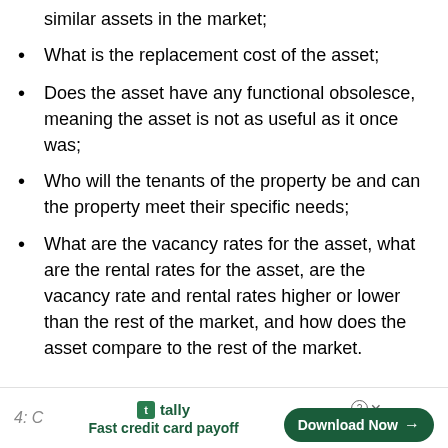similar assets in the market;
What is the replacement cost of the asset;
Does the asset have any functional obsolesce, meaning the asset is not as useful as it once was;
Who will the tenants of the property be and can the property meet their specific needs;
What are the vacancy rates for the asset, what are the rental rates for the asset, are the vacancy rate and rental rates higher or lower than the rest of the market, and how does the asset compare to the rest of the market.
4: C   Tally — Fast credit card payoff   Download Now →